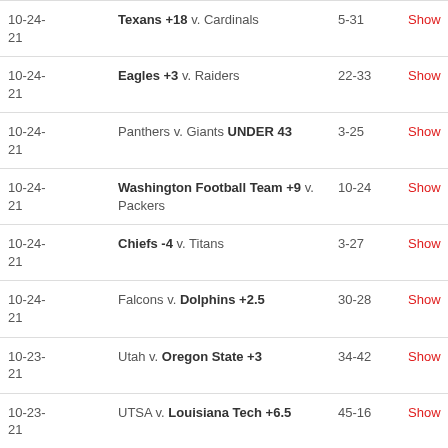| Date | Pick | Score |  |
| --- | --- | --- | --- |
| 10-24-21 | Texans +18 v. Cardinals | 5-31 | Show |
| 10-24-21 | Eagles +3 v. Raiders | 22-33 | Show |
| 10-24-21 | Panthers v. Giants UNDER 43 | 3-25 | Show |
| 10-24-21 | Washington Football Team +9 v. Packers | 10-24 | Show |
| 10-24-21 | Chiefs -4 v. Titans | 3-27 | Show |
| 10-24-21 | Falcons v. Dolphins +2.5 | 30-28 | Show |
| 10-23-21 | Utah v. Oregon State +3 | 34-42 | Show |
| 10-23-21 | UTSA v. Louisiana Tech +6.5 | 45-16 | Show |
| 10-23- | East Carolina v. Houston -13 | 24-31 | Show |